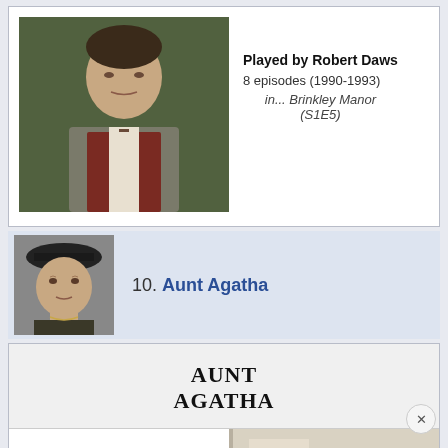[Figure (photo): Photo of a man in a suit with a tie, looking surprised, outdoors against greenery background — Robert Daws]
Played by Robert Daws
8 episodes (1990-1993)
in... Brinkley Manor (S1E5)
10. Aunt Agatha
[Figure (photo): Small thumbnail photo of an elderly woman in a dark hat — Aunt Agatha character]
AUNT AGATHA
[Figure (photo): Partially visible scene photo, appears to show an interior setting, cropped at bottom of page]
Played by Mary